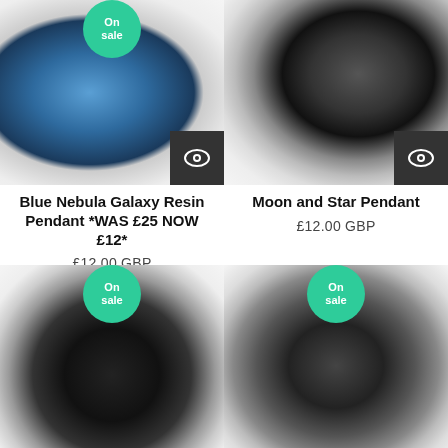[Figure (photo): Blue Nebula Galaxy Resin Pendant product photo with 'On sale' teal badge, quick view button]
Blue Nebula Galaxy Resin Pendant *WAS £25 NOW £12*
£12.00 GBP
[Figure (photo): Moon and Star Pendant product photo, quick view button]
Moon and Star Pendant
£12.00 GBP
[Figure (photo): Diamond shaped dark pendant product photo with 'On sale' teal badge]
[Figure (photo): Teardrop/oval shaped dark pendant product photo with 'On sale' teal badge]